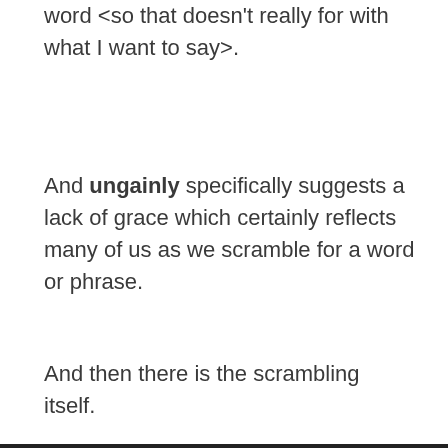word <so that doesn't really for with what I want to say>.
And ungainly specifically suggests a lack of grace which certainly reflects many of us as we scramble for a word or phrase.
And then there is the scrambling itself.